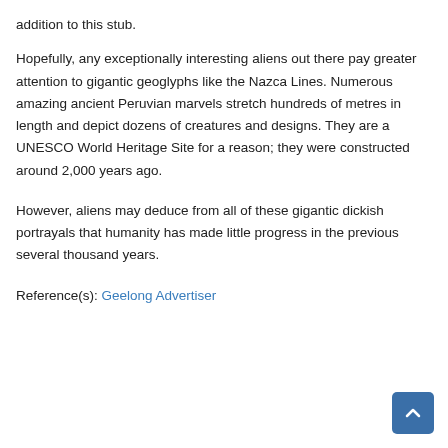addition to this stub.
Hopefully, any exceptionally interesting aliens out there pay greater attention to gigantic geoglyphs like the Nazca Lines. Numerous amazing ancient Peruvian marvels stretch hundreds of metres in length and depict dozens of creatures and designs. They are a UNESCO World Heritage Site for a reason; they were constructed around 2,000 years ago.
However, aliens may deduce from all of these gigantic dickish portrayals that humanity has made little progress in the previous several thousand years.
Reference(s): Geelong Advertiser